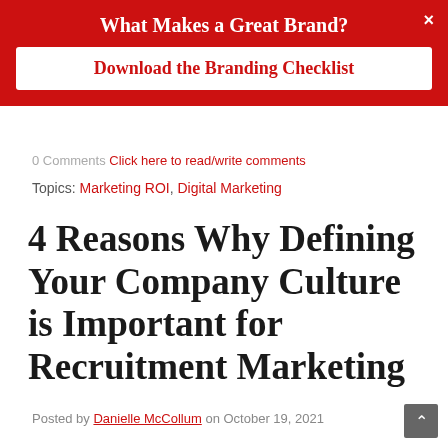What Makes a Great Brand?
Download the Branding Checklist
0 Comments Click here to read/write comments
Topics: Marketing ROI, Digital Marketing
4 Reasons Why Defining Your Company Culture is Important for Recruitment Marketing
Posted by Danielle McCollum on October 19, 2021